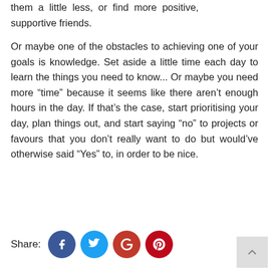them a little less, or find more positive, supportive friends.

Or maybe one of the obstacles to achieving one of your goals is knowledge. Set aside a little time each day to learn the things you need to know... Or maybe you need more “time” because it seems like there aren’t enough hours in the day. If that’s the case, start prioritising your day, plan things out, and start saying “no” to projects or favours that you don’t really want to do but would’ve otherwise said “Yes” to, in order to be nice.
Share: